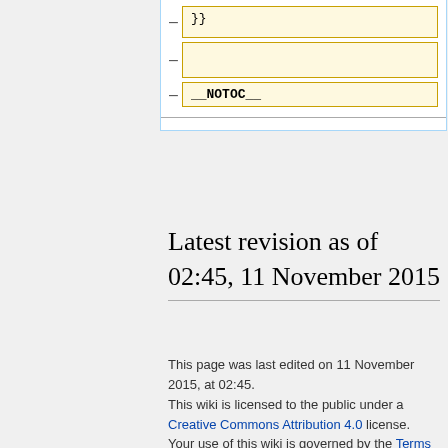[Figure (screenshot): Wikipedia-style template editor panel showing template rows with minus buttons and yellow-bordered input boxes. The third row shows '__NOTOC__' in a monospace font box.]
Latest revision as of 02:45, 11 November 2015
This page was last edited on 11 November 2015, at 02:45.
This wiki is licensed to the public under a Creative Commons Attribution 4.0 license.
Your use of this wiki is governed by the Terms of Use.
Privacy policy   About Creative Commons
Disclaimers
[Figure (logo): Creative Commons Attribution license logo (CC BY)]
[Figure (logo): Powered by MediaWiki logo]